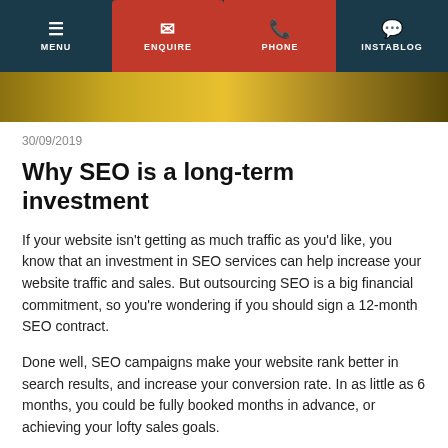MENU | ENQUIRE | PHONE | INSTABLOG
[Figure (photo): Golden/yellow hero image banner strip]
30/09/2019
Why SEO is a long-term investment
If your website isn't getting as much traffic as you'd like, you know that an investment in SEO services can help increase your website traffic and sales. But outsourcing SEO is a big financial commitment, so you're wondering if you should sign a 12-month SEO contract.
Done well, SEO campaigns make your website rank better in search results, and increase your conversion rate. In as little as 6 months, you could be fully booked months in advance, or achieving your lofty sales goals.
...a long-term investment, so it needs just... SEO consultant and plenty of patience... your part.
[Figure (infographic): Google Rating widget showing 4.5 stars rating with Google G logo]